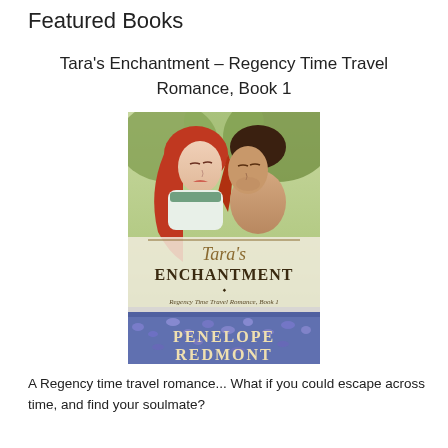Featured Books
Tara's Enchantment – Regency Time Travel Romance, Book 1
[Figure (photo): Book cover of 'Tara's Enchantment – Regency Time Travel Romance, Book 1' by Penelope Redmont, showing a red-haired woman and a shirtless man about to kiss, set against a bluebell woodland background.]
A Regency time travel romance... What if you could escape across time, and find your soulmate?